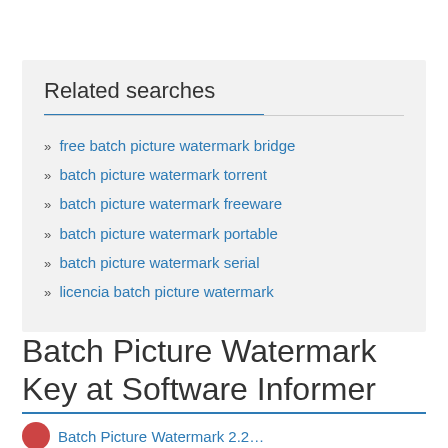Related searches
free batch picture watermark bridge
batch picture watermark torrent
batch picture watermark freeware
batch picture watermark portable
batch picture watermark serial
licencia batch picture watermark
Batch Picture Watermark Key at Software Informer
Batch Picture Watermark 2.2...